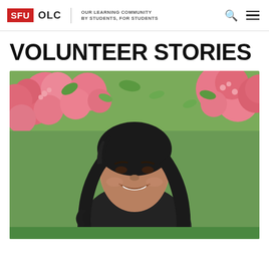SFU OLC | OUR LEARNING COMMUNITY BY STUDENTS, FOR STUDENTS
VOLUNTEER STORIES
[Figure (photo): A smiling young woman with long dark wavy hair standing in front of pink flowering bushes and green foliage, photographed outdoors.]